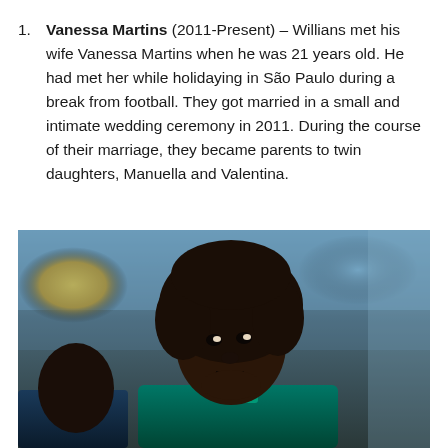Vanessa Martins (2011-Present) – Willians met his wife Vanessa Martins when he was 21 years old. He had met her while holidaying in São Paulo during a break from football. They got married in a small and intimate wedding ceremony in 2011. During the course of their marriage, they became parents to twin daughters, Manuella and Valentina.
[Figure (photo): Photo of a young Black man with a large natural afro hairstyle, wearing a teal/turquoise sports jersey, looking upward with a focused expression. Another person is partially visible to his left. Background shows blurred arena/stadium lights with yellow and blue tones.]